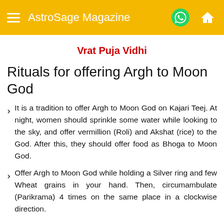AstroSage Magazine
Vrat Puja Vidhi
Rituals for offering Argh to Moon God
It is a tradition to offer Argh to Moon God on Kajari Teej. At night, women should sprinkle some water while looking to the sky, and offer vermillion (Roli) and Akshat (rice) to the God. After this, they should offer food as Bhoga to Moon God.
Offer Argh to Moon God while holding a Silver ring and few Wheat grains in your hand. Then, circumambulate (Parikrama) 4 times on the same place in a clockwise direction.